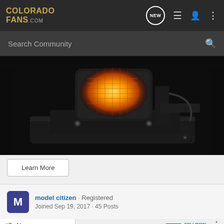COLORADO FANS .com — header navigation with NEW, list, user, and menu icons
Search Community
[Figure (photo): Close-up photo of an orange/amber fog light or driving light mounted in a black bracket/bumper housing on a dark vehicle]
Learn More
model citizen · Registered
Joined Sep 19, 2017 · 45 Posts
#7 · Nov
I usually
[Figure (screenshot): GM Collision Repair Network advertisement banner reading REWARDING YOUR DEDICATION with GM logo and COLLISION REPAIR NETWORK text]